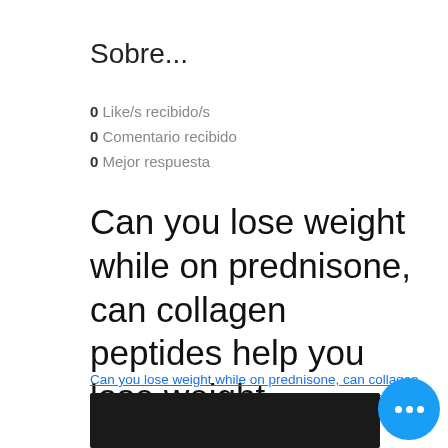Sobre...
0 Like/s recibido/s
0 Comentario recibido
0 Mejor respuesta
Can you lose weight while on prednisone, can collagen peptides help you lose weight
Can you lose weight while on prednisone, can collagen peptides help you lose weight - Buy legal anabolic steroids
[Figure (photo): Dark/black image at bottom of page, partially visible]